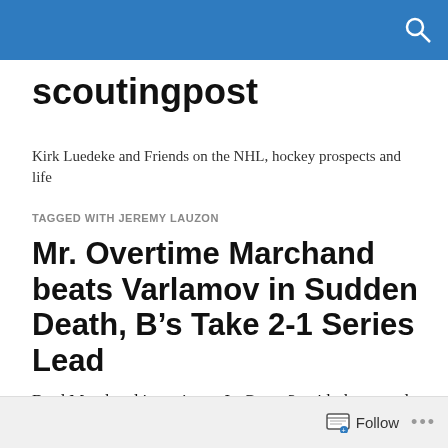scoutingpost
Kirk Luedeke and Friends on the NHL, hockey prospects and life
TAGGED WITH JEREMY LAUZON
Mr. Overtime Marchand beats Varlamov in Sudden Death, B’s Take 2-1 Series Lead
Brad Marchand is a winner. In Game 3, with the scored deadlocked at 1-1 and the ice tilted against the Boston